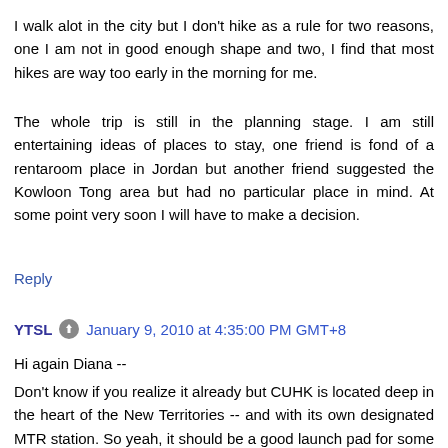I walk alot in the city but I don't hike as a rule for two reasons, one I am not in good enough shape and two, I find that most hikes are way too early in the morning for me.
The whole trip is still in the planning stage. I am still entertaining ideas of places to stay, one friend is fond of a rentaroom place in Jordan but another friend suggested the Kowloon Tong area but had no particular place in mind. At some point very soon I will have to make a decision.
Reply
YTSL  January 9, 2010 at 4:35:00 PM GMT+8
Hi again Diana --
Don't know if you realize it already but CUHK is located deep in the heart of the New Territories -- and with its own designated MTR station. So yeah, it should be a good launch pad for some adventures.